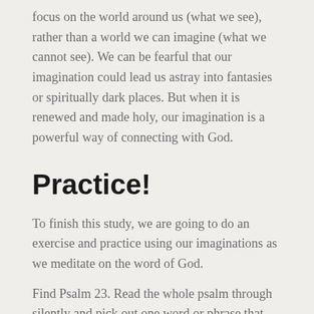focus on the world around us (what we see), rather than a world we can imagine (what we cannot see). We can be fearful that our imagination could lead us astray into fantasies or spiritually dark places. But when it is renewed and made holy, our imagination is a powerful way of connecting with God.
Practice!
To finish this study, we are going to do an exercise and practice using our imaginations as we meditate on the word of God.
Find Psalm 23. Read the whole psalm through silently and pick out one word or phrase that seems to stand out to you. Spend the next five minutes meditating on those words. Memorise them and repeat them slowly in your mind. Let the words soak